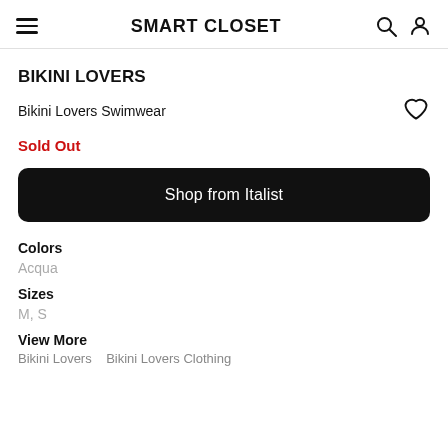SMART CLOSET
BIKINI LOVERS
Bikini Lovers Swimwear
Sold Out
Shop from Italist
Colors
Acqua
Sizes
M, S
View More
Bikini Lovers   Bikini Lovers Clothing